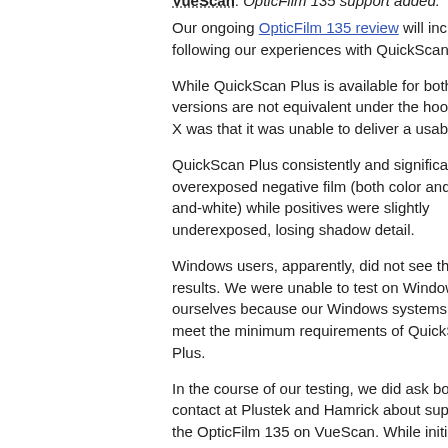VueScan: OpticFilm 135 support added.
Our ongoing OpticFilm 135 review will include a following our experiences with QuickScan Plus.
While QuickScan Plus is available for both OS X versions are not equivalent under the hood. Our ov X was that it was unable to deliver a usable scan.
QuickScan Plus consistently and significantly overexposed negative film (both color and black-and-white) while positives were slightly underexposed, losing shadow detail.
Windows users, apparently, did not see the same results. We were unable to test on Windows ourselves because our Windows systems did not meet the minimum requirements of QuickScan Plus.
In the course of our testing, we did ask both our contact at Plustek and Hamrick about supporting the OpticFilm 135 on VueScan. While initial discussions were positive, Plustek didn't make the scanner available to Hamrick. He subsequently acquired one himself last week and updated VueScan in just a few hours yesterday.
The current version of VueScan doesn't include IT